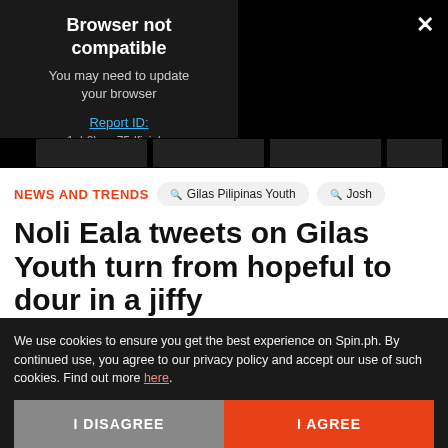[Figure (screenshot): Dark video player area showing 'Browser not compatible' error box with report ID link, close X button, and thumbnail strip at bottom]
NEWS AND TRENDS
Noli Eala tweets on Gilas Youth turn from hopeful to dour in a jiffy
We use cookies to ensure you get the best experience on Spin.ph. By continued use, you agree to our privacy policy and accept our use of such cookies. Find out more here.